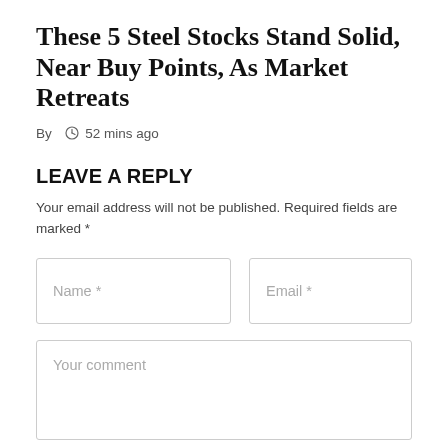These 5 Steel Stocks Stand Solid, Near Buy Points, As Market Retreats
By  52 mins ago
LEAVE A REPLY
Your email address will not be published. Required fields are marked *